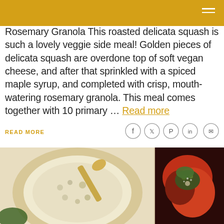Rosemary Granola This roasted delicata squash is such a lovely veggie side meal! Golden pieces of delicata squash are overdone top of soft vegan cheese, and after that sprinkled with a spiced maple syrup, and completed with crisp, mouth-watering rosemary granola. This meal comes together with 10 primary … Read more
READ MORE
[Figure (photo): Food photo showing a bowl of granola/grain mixture with a spoon on the left, and stuffed red peppers with greens on the right]